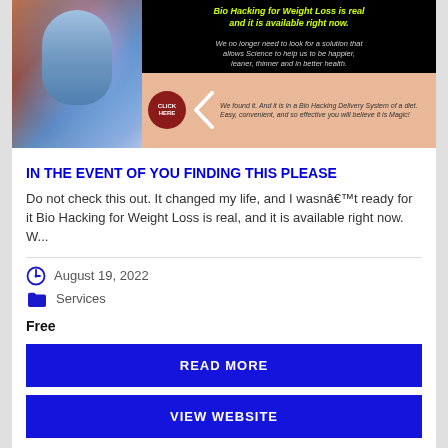[Figure (photo): Promotional banner image for Bio Hacking for Weight Loss. Left side shows a stylized blue human face/head with glowing brain imagery. Right side has black background with yellow-green bold italic text: 'Bio Hacking for Weight Loss is real and it is available right now.' Below in grey text: 'We no longer need to look for a solution that allows Science to help us to be happier, leaner, thinner and in better health.' Bottom salmon/peach section shows a dark red circular 'CLICK HERE' button, a white chevron arrow, and italic text: 'We found it. And it is in a Bio Hacking Delivery System of a diet. Easy, convenient, and so effective you will believe it is Magic!']
IN THE EVENT OF YOU FINDING THIS PLEASE
Do not check this out. It changed my life, and I wasnâ€™t ready for it Bio Hacking for Weight Loss is real, and it is available right now. W...
August 19, 2022
Services
Free
READ MORE
VIEW WEBSITE